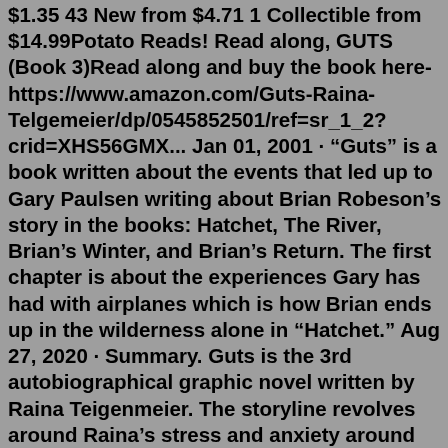$1.35 43 New from $4.71 1 Collectible from $14.99Potato Reads! Read along, GUTS (Book 3)Read along and buy the book here- https://www.amazon.com/Guts-Raina-Telgemeier/dp/0545852501/ref=sr_1_2?crid=XHS56GMX... Jan 01, 2001 · “Guts” is a book written about the events that led up to Gary Paulsen writing about Brian Robeson’s story in the books: Hatchet, The River, Brian’s Winter, and Brian’s Return. The first chapter is about the experiences Gary has had with airplanes which is how Brian ends up in the wilderness alone in “Hatchet.” Aug 27, 2020 · Summary. Guts is the 3rd autobiographical graphic novel written by Raina Teigenmeier. The storyline revolves around Raina’s stress and anxiety around throwing up and feeling sick and how she was able to overcome those feelings. At the beginning of the book, Raina and her mom end up with a stomach bug. They both get very sick and vomit a lot. Ew. "My little brother, Will, is only one and a half. He eats baby